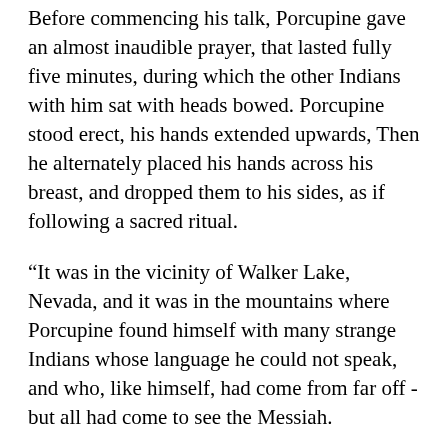Before commencing his talk, Porcupine gave an almost inaudible prayer, that lasted fully five minutes, during which the other Indians with him sat with heads bowed. Porcupine stood erect, his hands extended upwards, Then he alternately placed his hands across his breast, and dropped them to his sides, as if following a sacred ritual.
“It was in the vicinity of Walker Lake, Nevada, and it was in the mountains where Porcupine found himself with many strange Indians whose language he could not speak, and who, like himself, had come from far off -but all had come to see the Messiah.
“At sundown the Indians collected in large numbers, and after it became dark, He appeared to them -a large fire being built to throw the light upon Dim. He was not as dark as an Indian nor as light as a white man, and His dress was partly like each. He sat for a long time in perfect silence with His head bowed, during which time the Indians neither moved nor spoke. They were told that if they even whispered, the Christ would